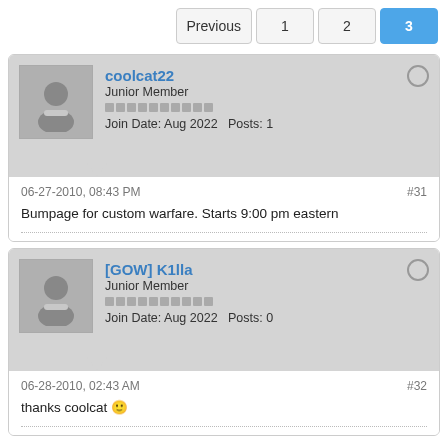Previous  1  2  3
coolcat22
Junior Member
Join Date: Aug 2022  Posts: 1
06-27-2010, 08:43 PM
#31
Bumpage for custom warfare. Starts 9:00 pm eastern
[GOW] K1lla
Junior Member
Join Date: Aug 2022  Posts: 0
06-28-2010, 02:43 AM
#32
thanks coolcat 🙂